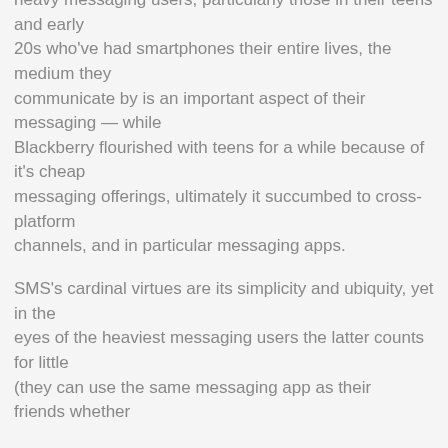heavy messaging users, particularly those in their teens and early 20s who've had smartphones their entire lives, the medium they communicate by is an important aspect of their messaging — while Blackberry flourished with teens for a while because of it's cheap messaging offerings, ultimately it succumbed to cross-platform channels, and in particular messaging apps.

SMS's cardinal virtues are its simplicity and ubiquity, yet in the eyes of the heaviest messaging users the latter counts for little (they can use the same messaging app as their friends whether